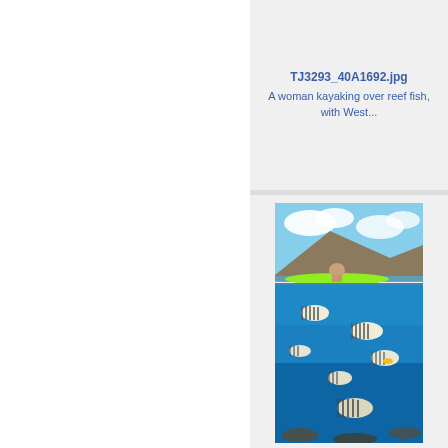TJ3293_40A1692.jpg
A woman kayaking over reef fish, with West...
[Figure (photo): Split underwater/above water photo showing a woman kayaking over reef fish with mountains in background]
TJ3292_40A1686-2.jpg
A woman kayaking over reef fish, with West...
[Figure (photo): Partial view of a woman kayaking in turquoise ocean near mountainous coastline]